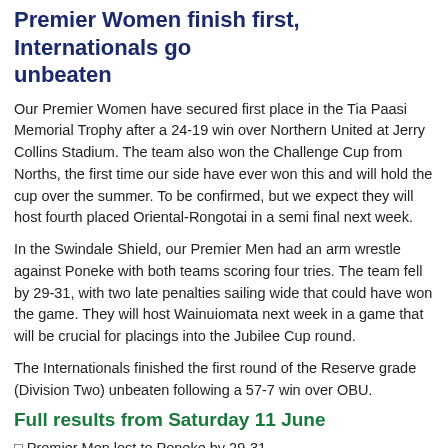Premier Women finish first, Internationals go unbeaten
Our Premier Women have secured first place in the Tia Paasi Memorial Trophy after a 24-19 win over Northern United at Jerry Collins Stadium. The team also won the Challenge Cup from Norths, the first time our side have ever won this and will hold the cup over the summer. To be confirmed, but we expect they will host fourth placed Oriental-Rongotai in a semi final next week.
In the Swindale Shield, our Premier Men had an arm wrestle against Poneke with both teams scoring four tries. The team fell by 29-31, with two late penalties sailing wide that could have won the game. They will host Wainuiomata next week in a game that will be crucial for placings into the Jubilee Cup round.
The Internationals finished the first round of the Reserve grade (Division Two) unbeaten following a 57-7 win over OBU.
Full results from Saturday 11 June
◻ Premier Men lost to Poneke by 29-31
◻ Premier 2 lost to Poneke by 7-35
◻ Premier Women beat Northern United by 24-19
◻ Colts lost to Wellington by 15-31
◻ Internationals beat OBU by 57-7
◻ Under 85s lost to Avalon by 0-88
◻ Presidents lost to Northern United by 22-31
◻ Netball beat Kia Ora by 26-22